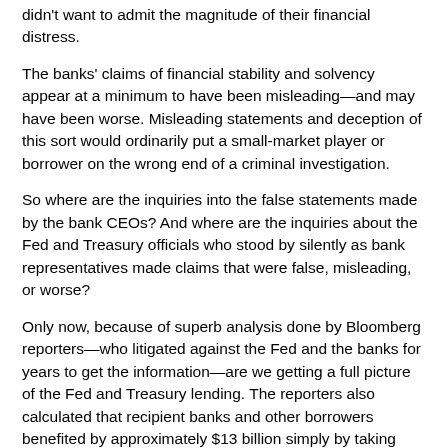didn't want to admit the magnitude of their financial distress.
The banks' claims of financial stability and solvency appear at a minimum to have been misleading—and may have been worse. Misleading statements and deception of this sort would ordinarily put a small-market player or borrower on the wrong end of a criminal investigation.
So where are the inquiries into the false statements made by the bank CEOs? And where are the inquiries about the Fed and Treasury officials who stood by silently as bank representatives made claims that were false, misleading, or worse?
Only now, because of superb analysis done by Bloomberg reporters—who litigated against the Fed and the banks for years to get the information—are we getting a full picture of the Fed and Treasury lending. The reporters also calculated that recipient banks and other borrowers benefited by approximately $13 billion simply by taking advantage of the “spread” between their cost of capital in these almost interest-free loans and their ability to lend the capital.